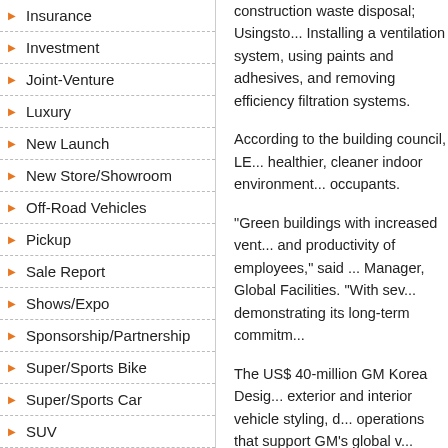Insurance
Investment
Joint-Venture
Luxury
New Launch
New Store/Showroom
Off-Road Vehicles
Pickup
Sale Report
Shows/Expo
Sponsorship/Partnership
Super/Sports Bike
Super/Sports Car
SUV
Truck
Van
construction waste disposal; Usingsto... Installing a ventilation system, using paints and adhesives, and removing efficiency filtration systems.
According to the building council, LE... healthier, cleaner indoor environment... occupants.
"Green buildings with increased vent... and productivity of employees," said ... Manager, Global Facilities. "With sev... demonstrating its long-term commitm...
The US$ 40-million GM Korea Desig... exterior and interior vehicle styling, d... operations that support GM's global v...
The GM Korea Design Center joins th... certification - GM China Adv... Te... Headquarters (Gold), GM B... e... Engine Plant in Brazil (Gold)... Milford Proving Ground Administrat...